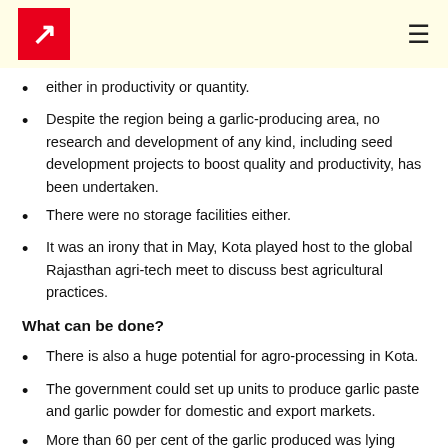either in productivity or quantity.
Despite the region being a garlic-producing area, no research and development of any kind, including seed development projects to boost quality and productivity, has been undertaken.
There were no storage facilities either.
It was an irony that in May, Kota played host to the global Rajasthan agri-tech meet to discuss best agricultural practices.
What can be done?
There is also a huge potential for agro-processing in Kota.
The government could set up units to produce garlic paste and garlic powder for domestic and export markets.
More than 60 per cent of the garlic produced was lying